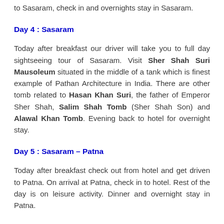to Sasaram, check in and overnights stay in Sasaram.
Day 4 : Sasaram
Today after breakfast our driver will take you to full day sightseeing tour of Sasaram. Visit Sher Shah Suri Mausoleum situated in the middle of a tank which is finest example of Pathan Architecture in India. There are other tomb related to Hasan Khan Suri, the father of Emperor Sher Shah, Salim Shah Tomb (Sher Shah Son) and Alawal Khan Tomb. Evening back to hotel for overnight stay.
Day 5 : Sasaram – Patna
Today after breakfast check out from hotel and get driven to Patna. On arrival at Patna, check in to hotel. Rest of the day is on leisure activity. Dinner and overnight stay in Patna.